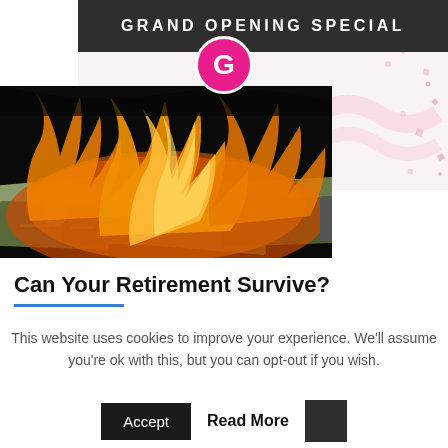[Figure (other): Grand Opening Special banner with dark header bar showing 'GRAND OPENING SPECIAL' text, a circular pink/magenta G logo in center, white card background with pink confetti, and an overlapping photo of burning US dollar bills (fire and cash)]
Can Your Retirement Survive?
This website uses cookies to improve your experience. We'll assume you're ok with this, but you can opt-out if you wish.
Accept  Read More